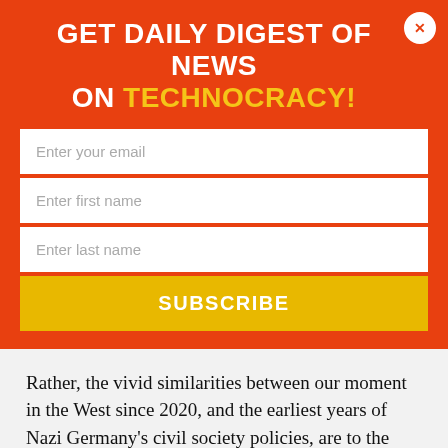GET DAILY DIGEST OF NEWS ON TECHNOCRACY!
Enter your email
Enter first name
Enter last name
SUBSCRIBE
Rather, the vivid similarities between our moment in the West since 2020, and the earliest years of Nazi Germany’s civil society policies, are to the years 1931-33, when so many vicious norms and policies were set in place. But these were often